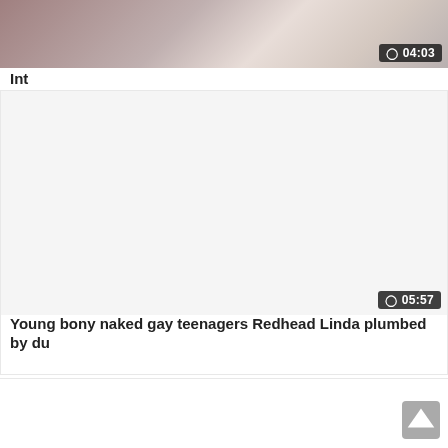[Figure (screenshot): Video thumbnail showing a blurred indoor scene with pinkish/brownish tones, with a duration badge showing 04:03 in the bottom right corner]
Int
[Figure (screenshot): Blank white video thumbnail placeholder with a duration badge showing 05:57 in the bottom right corner]
Young bony naked gay teenagers Redhead Linda plumbed by du
[Figure (screenshot): Partial bottom card area with a scroll-to-top button in the bottom right]